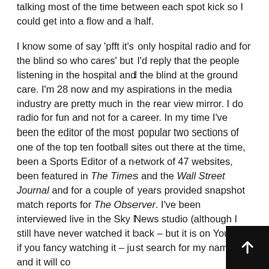talking most of the time between each spot kick so I could get into a flow and a half.
I know some of say 'pfft it's only hospital radio and for the blind so who cares' but I'd reply that the people listening in the hospital and the blind at the ground care. I'm 28 now and my aspirations in the media industry are pretty much in the rear view mirror. I do radio for fun and not for a career. In my time I've been the editor of the most popular two sections of one of the top ten football sites out there at the time, been a Sports Editor of a network of 47 websites, been featured in The Times and the Wall Street Journal and for a couple of years provided snapshot match reports for The Observer. I've been interviewed live in the Sky News studio (although I still have never watched it back – but it is on YouTube if you fancy watching it – just search for my name and it will come up) and read the news on Local Radio and been